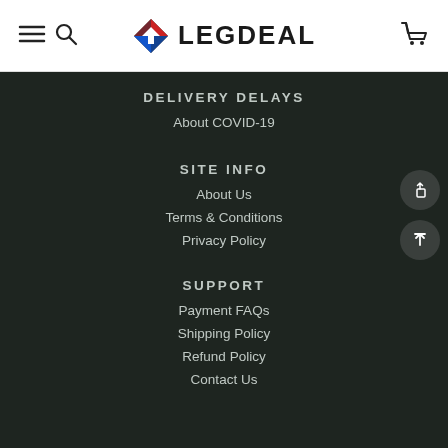LEGDEAL navigation header with menu, search, logo, and cart
DELIVERY DELAYS
About COVID-19
SITE INFO
About Us
Terms & Conditions
Privacy Policy
SUPPORT
Payment FAQs
Shipping Policy
Refund Policy
Contact Us